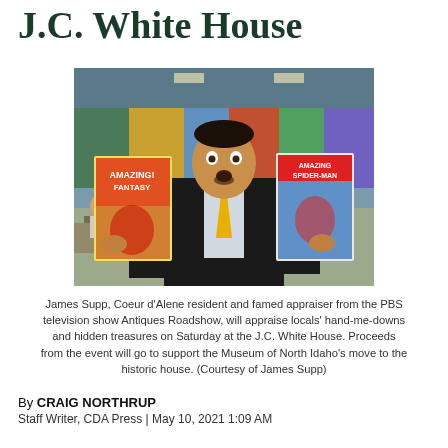J.C. White House
[Figure (photo): Man in suit with yellow tie holding up two vintage comic books — Amazing Fantasy and Amazing Spider-Man — at what appears to be an antiques show or convention. Background shows a large indoor event space with colorful murals and other attendees.]
James Supp, Coeur d'Alene resident and famed appraiser from the PBS television show Antiques Roadshow, will appraise locals' hand-me-downs and hidden treasures on Saturday at the J.C. White House. Proceeds from the event will go to support the Museum of North Idaho's move to the historic house. (Courtesy of James Supp)
By CRAIG NORTHRUP
Staff Writer, CDA Press | May 10, 2021 1:09 AM